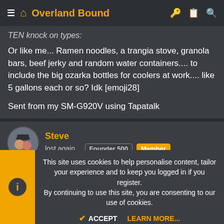Overland Bound
TEN knock on types:
Or like me... Ramen noodles, a trangia stove, granola bars, beef jerky and random water containers.... to include the big ozarka bottles for coolers at work.... like 5 gallons each or so? Idk [emoji28]
Sent from my SM-G920V using Tapatalk
Steve
lost again... Founder 500 Member
This site uses cookies to help personalise content, tailor your experience and to keep you logged in if you register.
By continuing to use this site, you are consenting to our use of cookies.
ACCEPT   LEARN MORE...